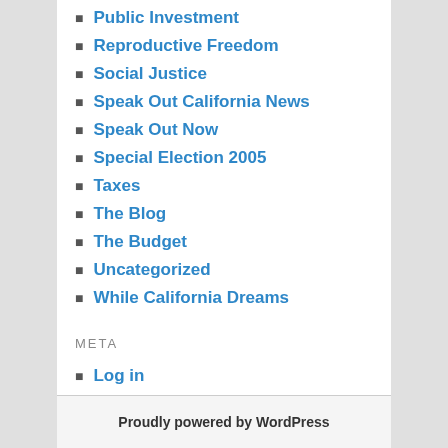Public Investment
Reproductive Freedom
Social Justice
Speak Out California News
Speak Out Now
Special Election 2005
Taxes
The Blog
The Budget
Uncategorized
While California Dreams
META
Log in
Entries feed
Comments feed
WordPress.org
Proudly powered by WordPress